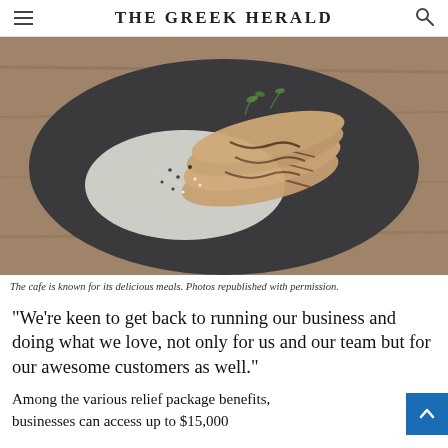THE GREEK HERALD
[Figure (photo): A dark round plate with sliced grilled chicken or pork topped with herbs and sesame seeds on a bed of shredded cabbage, placed on a wooden table. A printed card or menu is visible on the plate.]
The cafe is known for its delicious meals. Photos republished with permission.
“We’re keen to get back to running our business and doing what we love, not only for us and our team but for our awesome customers as well.”
Among the various relief package benefits, businesses can access up to $15,000